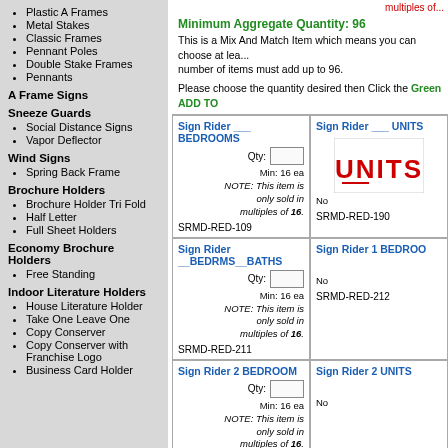Plastic A Frames
Metal Stakes
Classic Frames
Pennant Poles
Double Stake Frames
Pennants
A Frame Signs
Sneeze Guards
Social Distance Signs
Vapor Deflector
Wind Signs
Spring Back Frame
Brochure Holders
Brochure Holder Tri Fold
Half Letter
Full Sheet Holders
Economy Brochure Holders
Free Standing
Indoor Literature Holders
House Literature Holder
Take One Leave One
Copy Conserver
Copy Conserver with Franchise Logo
Business Card Holder
multiples of...
Minimum Aggregate Quantity: 96
This is a Mix And Match Item which means you can choose at least one of each style. The total number of items must add up to 96.
Please choose the quantity desired then Click the Green ADD TO...
Sign Rider ___ BEDROOMS
Qty: [input] Min: 16 ea NOTE: This item is only sold in multiples of 16.
SRMD-RED-109
Sign Rider ___ UNITS
SRMD-RED-190
Sign Rider __BEDRMS__BATHS
Qty: [input] Min: 16 ea NOTE: This item is only sold in multiples of 16.
SRMD-RED-211
Sign Rider 1 BEDROOM
SRMD-RED-212
Sign Rider 2 BEDROOM
Qty: [input] Min: 16 ea NOTE: This item is only sold in multiples of 16.
Sign Rider 2 UNITS